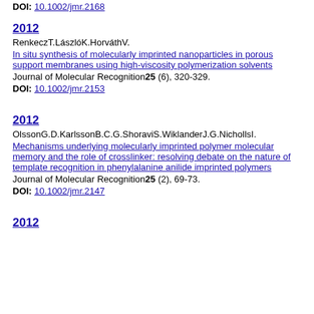DOI: 10.1002/jmr.2168
2012
RenkeczT.LászlóK.HorváthV.
In situ synthesis of molecularly imprinted nanoparticles in porous support membranes using high-viscosity polymerization solvents
Journal of Molecular Recognition25 (6), 320-329.
DOI: 10.1002/jmr.2153
2012
OlssonG.D.KarlssonB.C.G.ShoraviS.WiklanderJ.G.NichollsI.
Mechanisms underlying molecularly imprinted polymer molecular memory and the role of crosslinker: resolving debate on the nature of template recognition in phenylalanine anilide imprinted polymers
Journal of Molecular Recognition25 (2), 69-73.
DOI: 10.1002/jmr.2147
2012